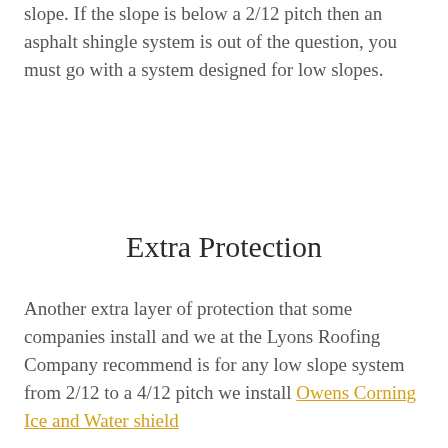slope. If the slope is below a 2/12 pitch then an asphalt shingle system is out of the question, you must go with a system designed for low slopes.
Extra Protection
Another extra layer of protection that some companies install and we at the Lyons Roofing Company recommend is for any low slope system from 2/12 to a 4/12 pitch we install Owens Corning Ice and Water shield